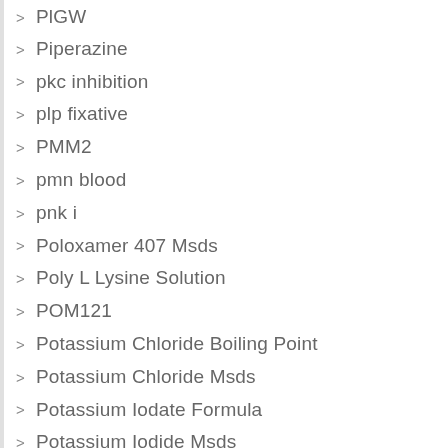PlGW
Piperazine
pkc inhibition
plp fixative
PMM2
pmn blood
pnk i
Poloxamer 407 Msds
Poly L Lysine Solution
POM121
Potassium Chloride Boiling Point
Potassium Chloride Msds
Potassium Iodate Formula
Potassium Iodide Msds
Potassium Nitrate